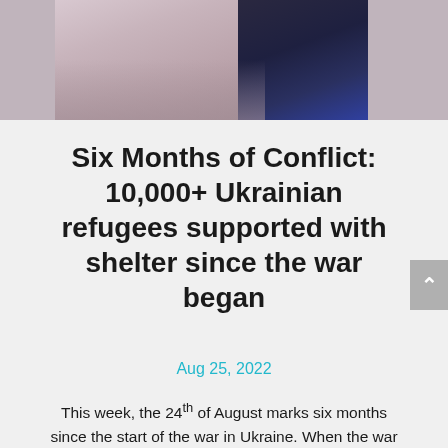[Figure (photo): Photograph showing two people, likely a parent and child, sitting together. The adult wears a floral patterned top and the child wears a dark top with polka dots.]
Six Months of Conflict: 10,000+ Ukrainian refugees supported with shelter since the war began
Aug 25, 2022
This week, the 24th of August marks six months since the start of the war in Ukraine. When the war began, refugees were soon crossing the borders en… Read More